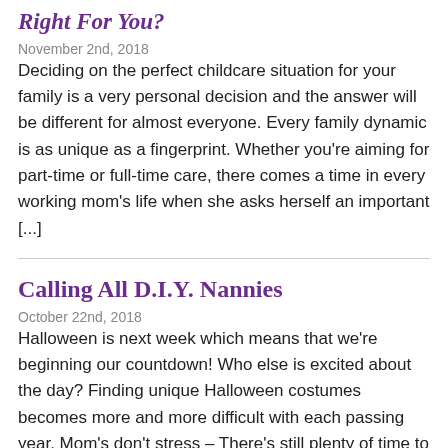Right For You?
November 2nd, 2018
Deciding on the perfect childcare situation for your family is a very personal decision and the answer will be different for almost everyone. Every family dynamic is as unique as a fingerprint.  Whether you're aiming for part-time or full-time care, there comes a time in every working mom's life when she asks herself an important [...]
Calling All D.I.Y. Nannies
October 22nd, 2018
Halloween is next week which means that we're beginning our countdown! Who else is excited about the day? Finding unique Halloween costumes becomes more and more difficult with each passing year.  Mom's don't stress – There's still plenty of time to have your D.I.Y. nanny costumes for your little…